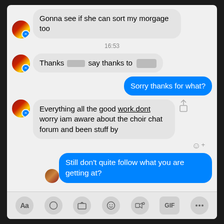Gonna see if she can sort my morgage too
16:53
Thanks [redacted] say thanks to [redacted]
Sorry thanks for what?
Everything all the good work.dont worry iam aware about the choir chat forum and been stuff by
Still don't quite follow what you are getting at?